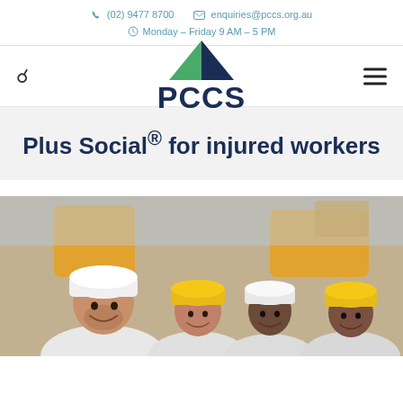(02) 9477 8700   enquiries@pccs.org.au   Monday – Friday 9 AM – 5 PM
[Figure (logo): PCCS logo with green and navy triangle above bold navy 'PCCS' text]
Plus Social® for injured workers
[Figure (photo): Four construction workers wearing hard hats (white and yellow) smiling, with yellow construction machinery in the background]